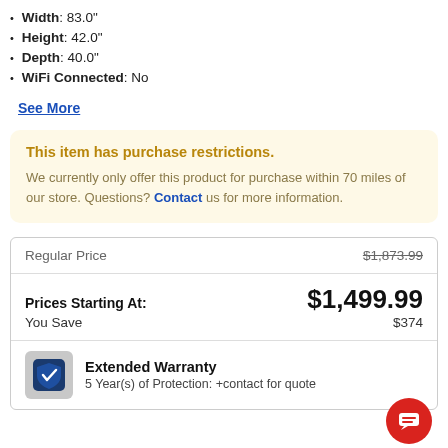Width: 83.0"
Height: 42.0"
Depth: 40.0"
WiFi Connected: No
See More
This item has purchase restrictions. We currently only offer this product for purchase within 70 miles of our store. Questions? Contact us for more information.
|  |  |
| --- | --- |
| Regular Price | $1,873.99 |
| Prices Starting At: | $1,499.99 |
| You Save | $374 |
Extended Warranty
5 Year(s) of Protection: +contact for quote